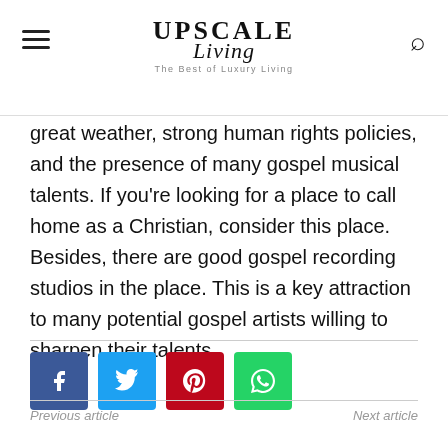Upscale Living — The Best of Luxury Living
great weather, strong human rights policies, and the presence of many gospel musical talents. If you're looking for a place to call home as a Christian, consider this place. Besides, there are good gospel recording studios in the place. This is a key attraction to many potential gospel artists willing to sharpen their talents.
Previous article | Next article